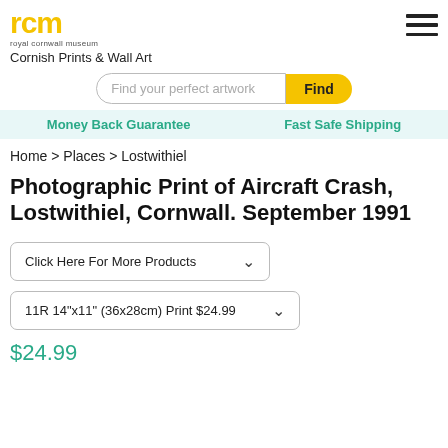[Figure (logo): Royal Cornwall Museum (rcm) logo with yellow stylized rcm text and 'royal cornwall museum' subtitle below]
Cornish Prints & Wall Art
Find your perfect artwork  Find
Money Back Guarantee   Fast Safe Shipping
Home > Places > Lostwithiel
Photographic Print of Aircraft Crash, Lostwithiel, Cornwall. September 1991
Click Here For More Products
11R 14"x11" (36x28cm) Print $24.99
$24.99